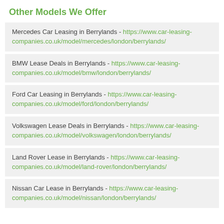Other Models We Offer
Mercedes Car Leasing in Berrylands - https://www.car-leasing-companies.co.uk/model/mercedes/london/berrylands/
BMW Lease Deals in Berrylands - https://www.car-leasing-companies.co.uk/model/bmw/london/berrylands/
Ford Car Leasing in Berrylands - https://www.car-leasing-companies.co.uk/model/ford/london/berrylands/
Volkswagen Lease Deals in Berrylands - https://www.car-leasing-companies.co.uk/model/volkswagen/london/berrylands/
Land Rover Lease in Berrylands - https://www.car-leasing-companies.co.uk/model/land-rover/london/berrylands/
Nissan Car Lease in Berrylands - https://www.car-leasing-companies.co.uk/model/nissan/london/berrylands/